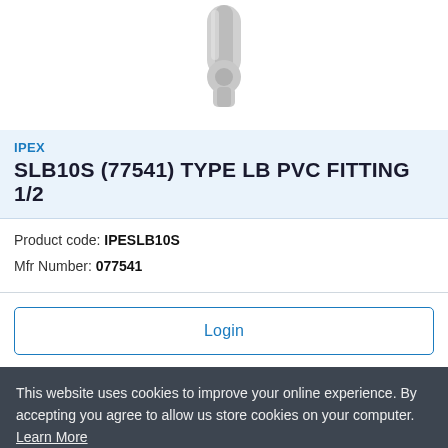[Figure (photo): Partial top view of a gray PVC pipe fitting (elbow/LB type), cropped at the top of the page on a white background.]
IPEX
SLB10S (77541) TYPE LB PVC FITTING 1/2
Product code: IPESLB10S
Mfr Number: 077541
Login
This website uses cookies to improve your online experience. By accepting you agree to allow us store cookies on your computer. Learn More
I accept